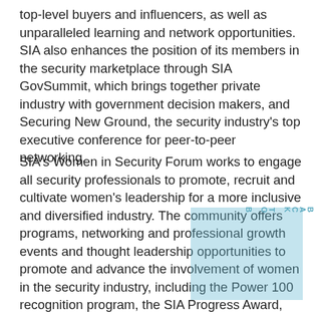top-level buyers and influencers, as well as unparalleled learning and network opportunities. SIA also enhances the position of its members in the security marketplace through SIA GovSummit, which brings together private industry with government decision makers, and Securing New Ground, the security industry's top executive conference for peer-to-peer networking.
SIA's Women in Security Forum works to engage all security professionals to promote, recruit and cultivate women's leadership for a more inclusive and diversified industry. The community offers programs, networking and professional growth events and thought leadership opportunities to promote and advance the involvement of women in the security industry, including the Power 100 recognition program, the SIA Progress Award, the SIA Women in Security Forum Scholarship, special breakfast keynote events at ISC West and East, volunteer efforts that give back to the community; a virtual education series, collaborative projects with other organizations seeking to empower